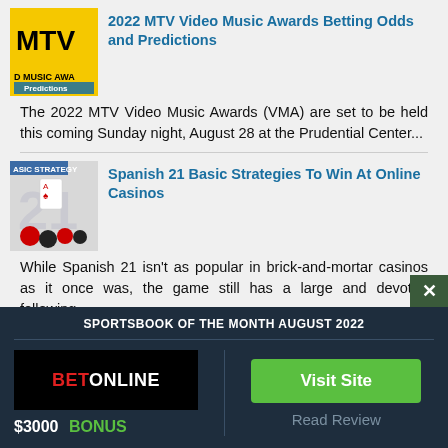[Figure (photo): MTV Video Music Awards thumbnail with yellow background and MTV logo]
2022 MTV Video Music Awards Betting Odds and Predictions
The 2022 MTV Video Music Awards (VMA) are set to be held this coming Sunday night, August 28 at the Prudential Center...
[Figure (photo): Spanish 21 Basic Strategy casino card game thumbnail with dice and chips]
Spanish 21 Basic Strategies To Win At Online Casinos
While Spanish 21 isn't as popular in brick-and-mortar casinos as it once was, the game still has a large and devoted following...
SPORTSBOOK OF THE MONTH AUGUST 2022
[Figure (logo): BetOnline logo on black background]
$3000 BONUS
Visit Site
Read Review